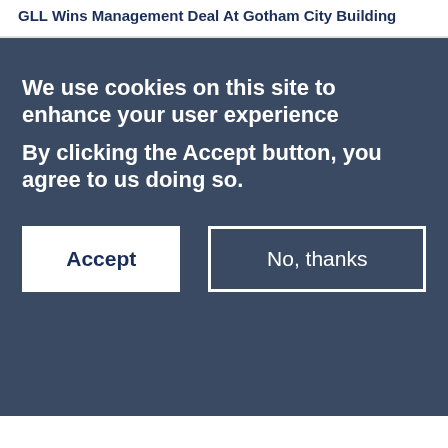GLL Wins Management Deal At Gotham City Building
We use cookies on this site to enhance your user experience
By clicking the Accept button, you agree to us doing so.
Accept
No, thanks